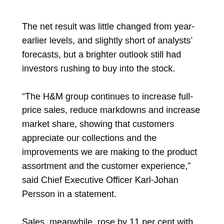The net result was little changed from year-earlier levels, and slightly short of analysts' forecasts, but a brighter outlook still had investors rushing to buy into the stock.
“The H&M group continues to increase full-price sales, reduce markdowns and increase market share, showing that customers appreciate our collections and the improvements we are making to the product assortment and the customer experience,” said Chief Executive Officer Karl-Johan Persson in a statement.
Sales, meanwhile, rose by 11 per cent with analysts welcoming the Swedish group’s apparent success in accelerating its digital performance, especially in online sales which rose 20 per cent in local currencies in the quarter, and 27 per cent once converted back into kronor.